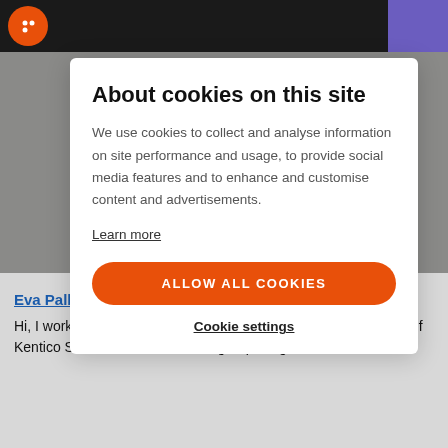[Figure (screenshot): Website screenshot showing a cookie consent overlay on a page with a dark top navigation bar with orange logo and purple button. Behind the overlay is a gray background image area.]
About cookies on this site
We use cookies to collect and analyse information on site performance and usage, to provide social media features and to enhance and customise content and advertisements.
Learn more
ALLOW ALL COOKIES
Cookie settings
Eva Palbuchtova (Blazkova)
Hi, I work as an Event Manager. I take care of upcoming events of Kentico Software and .NET user group Programme.